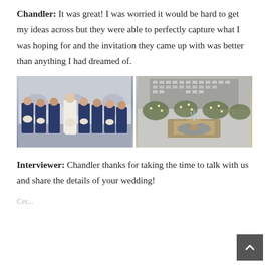Chandler: It was great! I was worried it would be hard to get my ideas across but they were able to perfectly capture what I was hoping for and the invitation they came up with was better than anything I had dreamed of.
[Figure (photo): Two side-by-side wedding photos: left shows a bride with bridesmaids in navy blue dresses holding bouquets in front of a building with arches; right shows an ornate outdoor venue with a fountain, trees with white lights, and a large multi-story hotel building in the background.]
Interviewer: Chandler thanks for taking the time to talk with us and share the details of your wedding!